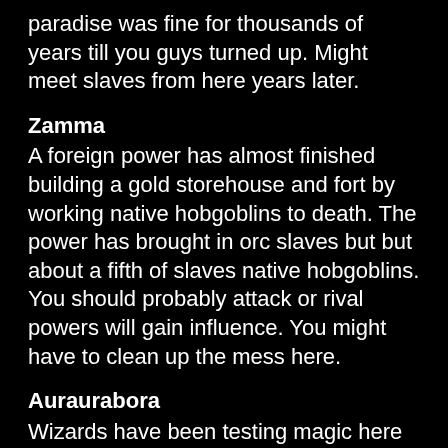paradise was fine for thousands of years till you guys turned up. Might meet slaves from here years later.
Zamma
A foreign power has almost finished building a gold storehouse and fort by working native hobgoblins to death. The power has brought in orc slaves but but about a fifth of slaves native hobgoblins. You should probably attack or rival powers will gain influence. You might have to clean up the mess here.
Auraurabora
Wizards have been testing magic here for aeons
Ulenga
War like hobgoblin islanders suspicious and hateful of outsiders. File their teeth and do best to look savage and horrible
Torrama
Warrior tribes of orcs vs goblinoids, battling to exterminate each other. Keen to use strange visitors to help them win